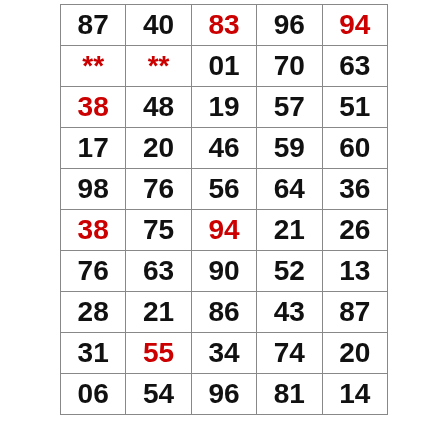| 87 | 40 | 83 | 96 | 94 |
| ** | ** | 01 | 70 | 63 |
| 38 | 48 | 19 | 57 | 51 |
| 17 | 20 | 46 | 59 | 60 |
| 98 | 76 | 56 | 64 | 36 |
| 38 | 75 | 94 | 21 | 26 |
| 76 | 63 | 90 | 52 | 13 |
| 28 | 21 | 86 | 43 | 87 |
| 31 | 55 | 34 | 74 | 20 |
| 06 | 54 | 96 | 81 | 14 |